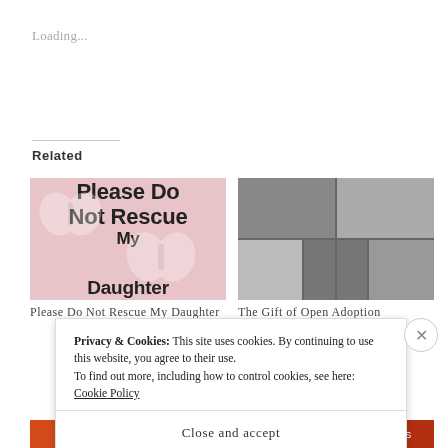Loading...
Related
[Figure (photo): Pink background image with white butterfly silhouettes and bold black text reading 'Please Do Not Rescue My Daughter']
[Figure (photo): Black and white photo collage with bold white text overlay reading 'The Gift of Open Adoption']
Please Do Not Rescue My Daughter
The Gift of Open Adoption
November 10, 2014
Privacy & Cookies: This site uses cookies. By continuing to use this website, you agree to their use.
To find out more, including how to control cookies, see here: Cookie Policy
Close and accept